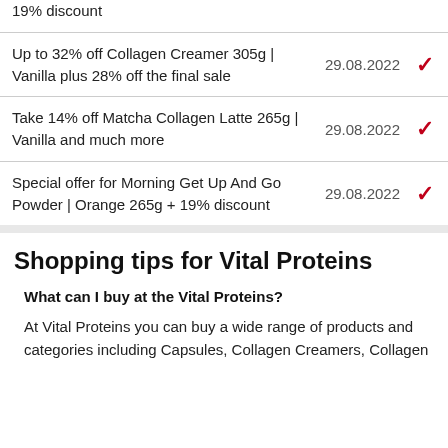19% discount | 29.08.2022 ✓
Up to 32% off Collagen Creamer 305g | Vanilla plus 28% off the final sale | 29.08.2022 ✓
Take 14% off Matcha Collagen Latte 265g | Vanilla and much more | 29.08.2022 ✓
Special offer for Morning Get Up And Go Powder | Orange 265g + 19% discount | 29.08.2022 ✓
Shopping tips for Vital Proteins
What can I buy at the Vital Proteins?
At Vital Proteins you can buy a wide range of products and categories including Capsules, Collagen Creamers, Collagen